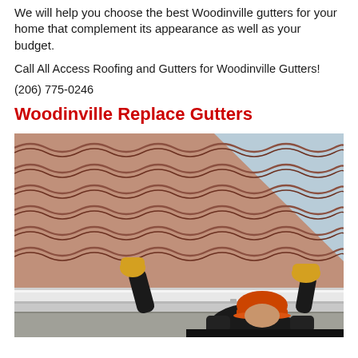We will help you choose the best Woodinville gutters for your home that complement its appearance as well as your budget.
Call All Access Roofing and Gutters for Woodinville Gutters!
(206) 775-0246
Woodinville Replace Gutters
[Figure (photo): Worker wearing an orange hard hat and yellow gloves installing or replacing gutters on a house with a tiled roof. The pink/terracotta wavy roof tiles are prominent, with a white gutter being fitted along the eave edge. Blue sky visible in the background.]